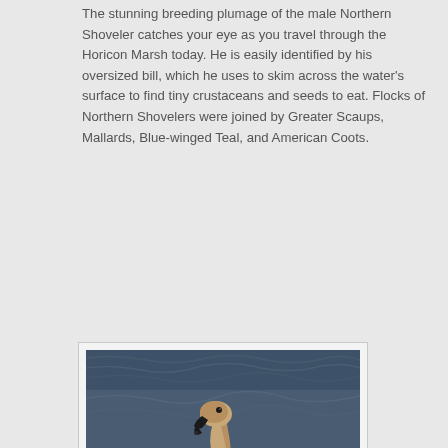The stunning breeding plumage of the male Northern Shoveler catches your eye as you travel through the Horicon Marsh today. He is easily identified by his oversized bill, which he uses to skim across the water's surface to find tiny crustaceans and seeds to eat. Flocks of Northern Shovelers were joined by Greater Scaups, Mallards, Blue-winged Teal, and American Coots.
[Figure (photo): A Trumpeter Swan swimming on dark blue rippled water. The swan has a white body with a brown-stained neck and black bill, facing left with head bent downward.]
Trumpeter Swan